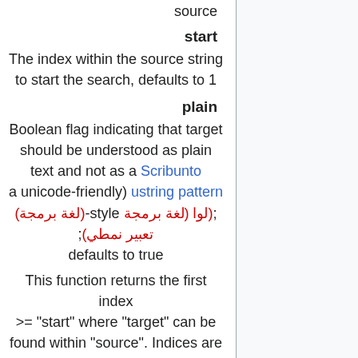source
start
The index within the source string to start the search, defaults to 1
plain
Boolean flag indicating that target should be understood as plain text and not as a Scribunto a unicode-friendly) ustring pattern ;(لوا (لغة برمجة) style-(لغة برمجة) تعبير نمطي); defaults to true
This function returns the first index >= "start" where "target" can be found within "source". Indices are 1-based. If "target" is not found, then this function returns 0. If either "source" or "target" are missing / empty, this function also returns 0